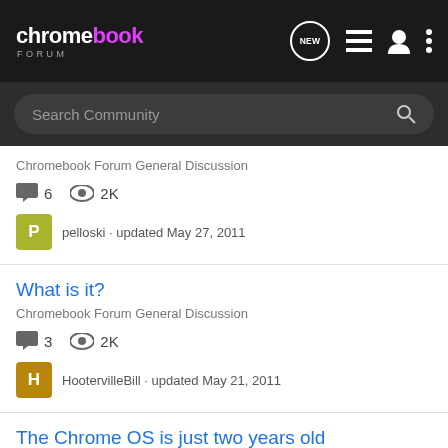chromebook FORUM
Search Community
Chromebook Forum General Discussion
6 comments · 2K views
pelloski · updated May 27, 2011
What is it?
Chromebook Forum General Discussion
3 comments · 2K views
HootervilleBill · updated May 21, 2011
The Chrome OS is just two years old
Chromebook Forum General Discussion